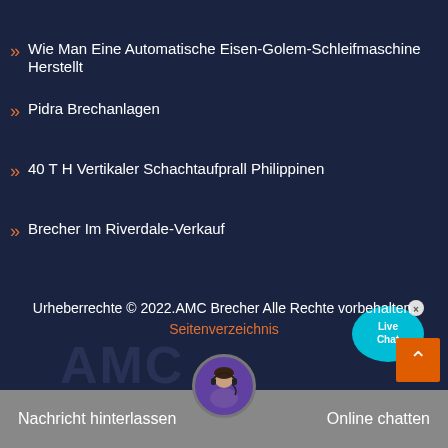Wie Man Eine Automatische Eisen-Golem-Schleifmaschine Herstellt
Pidra Brechanlagen
40 T H Vertikaler Schachtaufprall Philippinen
Brecher Im Riverdale-Verkauf
[Figure (illustration): Live Chat speech bubble icon in cyan/blue with 'Live Chat' text and a close button X]
Urheberrechte © 2022.AMC Brecher Alle Rechte vorbehalten. Seitenverzeichnis
[Figure (illustration): Back to top orange button with upward chevron arrow]
[Figure (photo): Customer service avatar - woman with headset]
Nachricht hinterlassen    Online chatten